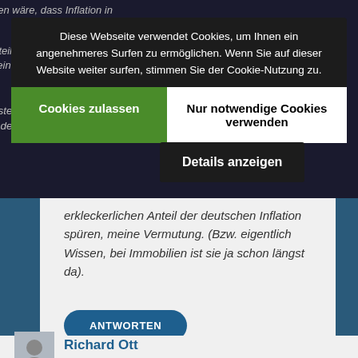worden wäre, dass Inflation in
Großteil der Weltbevölkerung, die einen erheblichen Anteil
steck, jedoch nicht. Und in den 20iger Jahren dieses Jahrtausends wird auch ein
Diese Webseite verwendet Cookies, um Ihnen ein angenehmeres Surfen zu ermöglichen. Wenn Sie auf dieser Website weiter surfen, stimmen Sie der Cookie-Nutzung zu.
Cookies zulassen
Nur notwendige Cookies verwenden
Details anzeigen
erkleckerlichen Anteil der deutschen Inflation spüren, meine Vermutung. (Bzw. eigentlich Wissen, bei Immobilien ist sie ja schon längst da).
ANTWORTEN
Richard Ott